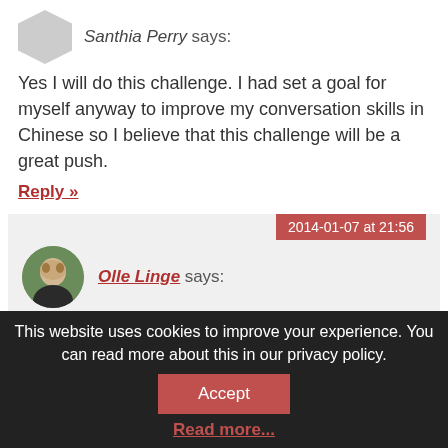Santhia Perry says:
Yes I will do this challenge. I had set a goal for myself anyway to improve my conversation skills in Chinese so I believe that this challenge will be a great push.
Reply »
2014-01-07 at 21:56
Olle Linge says:
What goal did you set? How's it going?
Reply »
This website uses cookies to improve your experience. You can read more about this in our privacy policy.
Accept
Read more...